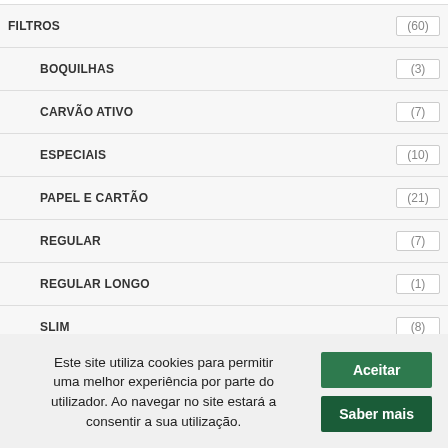FILTROS (60)
BOQUILHAS (3)
CARVÃO ATIVO (7)
ESPECIAIS (10)
PAPEL E CARTÃO (21)
REGULAR (7)
REGULAR LONGO (1)
SLIM (8)
SLIM LONGO (3)
GIFT (50)
Este site utiliza cookies para permitir uma melhor experiência por parte do utilizador. Ao navegar no site estará a consentir a sua utilização.